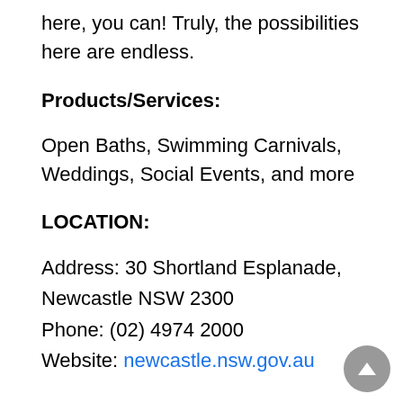here, you can! Truly, the possibilities here are endless.
Products/Services:
Open Baths, Swimming Carnivals, Weddings, Social Events, and more
LOCATION:
Address: 30 Shortland Esplanade, Newcastle NSW 2300
Phone: (02) 4974 2000
Website: newcastle.nsw.gov.au